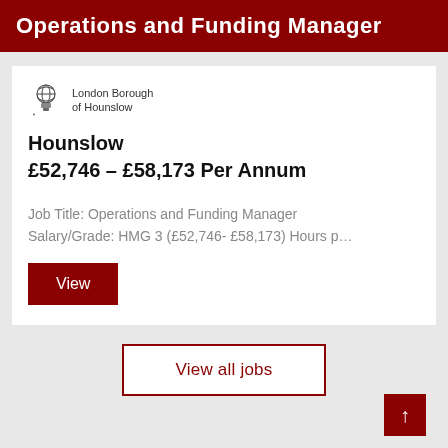Operations and Funding Manager
[Figure (logo): London Borough of Hounslow coat of arms logo with text 'London Borough of Hounslow']
Hounslow
£52,746 – £58,173 Per Annum
Job Title: Operations and Funding Manager Salary/Grade: HMG 3 (£52,746- £58,173) Hours p…
View
View all jobs